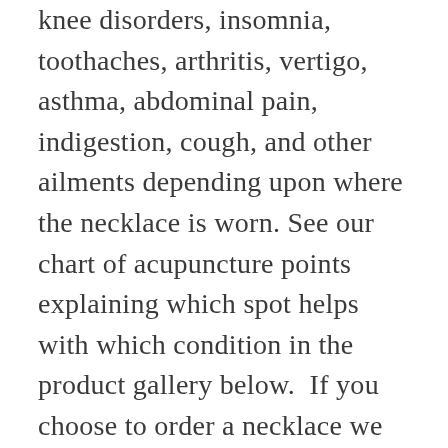knee disorders, insomnia, toothaches, arthritis, vertigo, asthma, abdominal pain, indigestion, cough, and other ailments depending upon where the necklace is worn. See our chart of acupuncture points explaining which spot helps with which condition in the product gallery below.  If you choose to order a necklace we will send you a tear off that shows which points can help with each condition. Magnets and magnetic therapy have been used for thousands of years in the East, both the...